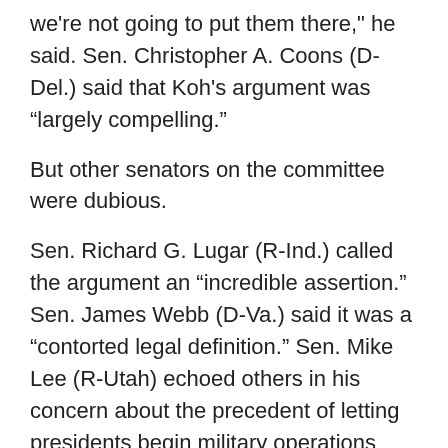we're not going to put them there," he said. Sen. Christopher A. Coons (D-Del.) said that Koh's argument was “largely compelling.”
But other senators on the committee were dubious.
Sen. Richard G. Lugar (R-Ind.) called the argument an “incredible assertion.” Sen. James Webb (D-Va.) said it was a “contorted legal definition.” Sen. Mike Lee (R-Utah) echoed others in his concern about the precedent of letting presidents begin military operations without congressional approval by asserting that the other side wouldn’t shoot back effectively
“It seems to be hard to say that doesn’t involve hostilities,” Lee said.
June 29, 2011